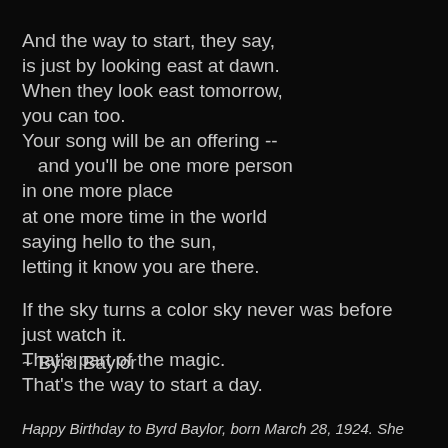And the way to start, they say,
is just by looking east at dawn.
When they look east tomorrow,
you can too.
Your song will be an offering --
   and you'll be one more person
in one more place
at one more time in the world
saying hello to the sun,
letting it know you are there.

If the sky turns a color sky never was before
just watch it.
That's part of the magic.
That's the way to start a day.
~ Byrd Baylor
Happy Birthday to Byrd Baylor, born March 28, 1924. She